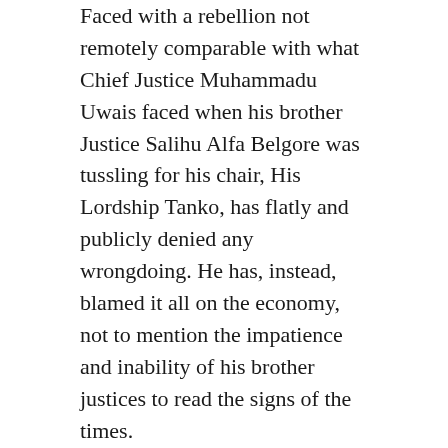Faced with a rebellion not remotely comparable with what Chief Justice Muhammadu Uwais faced when his brother Justice Salihu Alfa Belgore was tussling for his chair, His Lordship Tanko, has flatly and publicly denied any wrongdoing. He has, instead, blamed it all on the economy, not to mention the impatience and inability of his brother justices to read the signs of the times.
In the extraordinary back-and-forth, the devil is in the details. We just might be able to get some clarity by following, if not the devil, at least his footprints – which is to say, the money.
For many years, the judiciary has been demanding financial autonomy, a system that allows that branch